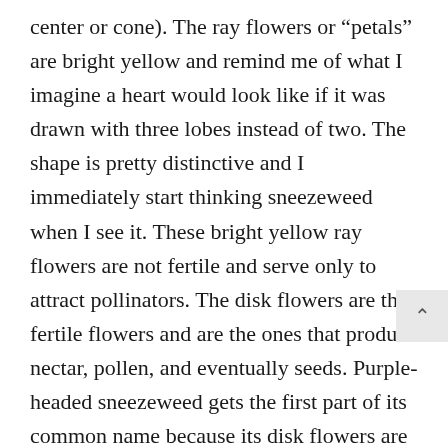center or cone). The ray flowers or "petals" are bright yellow and remind me of what I imagine a heart would look like if it was drawn with three lobes instead of two. The shape is pretty distinctive and I immediately start thinking sneezeweed when I see it. These bright yellow ray flowers are not fertile and serve only to attract pollinators. The disk flowers are the fertile flowers and are the ones that produce nectar, pollen, and eventually seeds. Purple-headed sneezeweed gets the first part of its common name because its disk flowers are a deep maroon or purple color, while most other sneezeweed species have yellowish disk flowers.

Purple-headed sneezeweed blooms throughout the